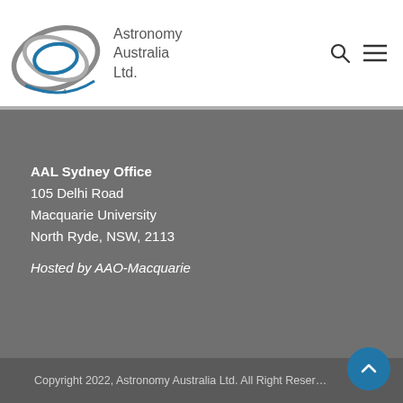[Figure (logo): Astronomy Australia Ltd. logo with overlapping rings and text]
AAL Sydney Office
105 Delhi Road
Macquarie University
North Ryde, NSW, 2113

Hosted by AAO-Macquarie
Copyright 2022, Astronomy Australia Ltd. All Right Reser...